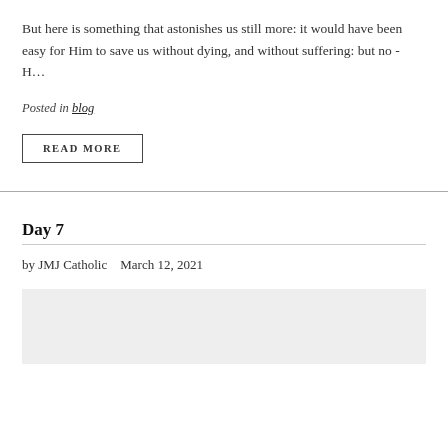But here is something that astonishes us still more: it would have been easy for Him to save us without dying, and without suffering: but no - H…
Posted in blog
READ MORE
Day 7
by JMJ Catholic   March 12, 2021
[Figure (other): Gray placeholder image box]